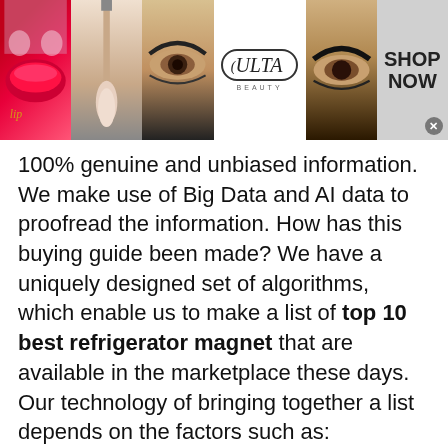[Figure (illustration): Ulta Beauty advertisement banner with makeup images (lips, brush, eye), Ulta Beauty logo, and SHOP NOW call to action]
100% genuine and unbiased information. We make use of Big Data and AI data to proofread the information. How has this buying guide been made? We have a uniquely designed set of algorithms, which enable us to make a list of top 10 best refrigerator magnet that are available in the marketplace these days. Our technology of bringing together a list depends on the factors such as:
[Figure (illustration): 1-800-Flowers advertisement banner with plant image and SEE WHAT'S NEW button. Text: Now in the Plant Shop, Fresh picks for summer]